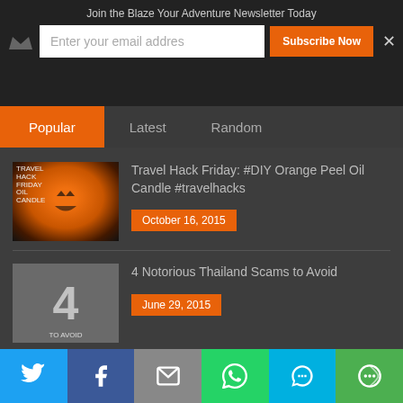Join the Blaze Your Adventure Newsletter Today
Enter your email addres
Subscribe Now
Popular | Latest | Random
[Figure (photo): Thumbnail image of a glowing orange pumpkin jack-o-lantern]
Travel Hack Friday: #DIY Orange Peel Oil Candle #travelhacks
October 16, 2015
[Figure (photo): Thumbnail image showing the number 4 with text to avoid, depicting Thailand scams]
4 Notorious Thailand Scams to Avoid
June 29, 2015
Travel Resources
January 14, 2015
Twitter | Facebook | Email | WhatsApp | SMS | More